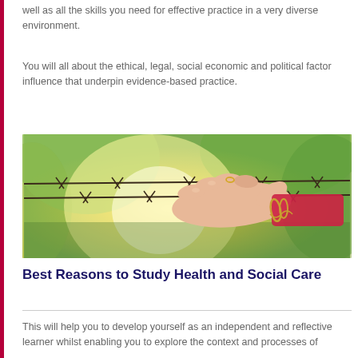well as all the skills you need for effective practice in a very diverse environment.
You will all about the ethical, legal, social economic and political factor influence that underpin evidence-based practice.
[Figure (photo): A hand with a bracelet touching barbed wire, with a blurred green and yellow nature background.]
Best Reasons to Study Health and Social Care
This will help you to develop yourself as an independent and reflective learner whilst enabling you to explore the context and processes of